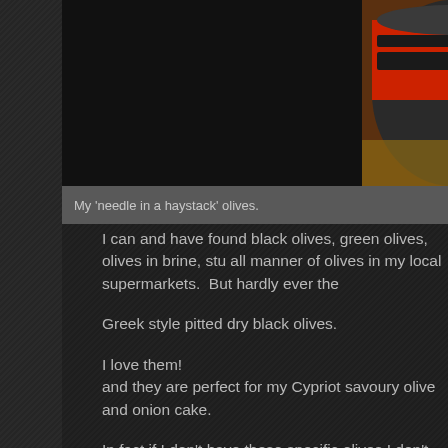[Figure (photo): Close-up photo of a can/jar of Black Olives with a red and black label, partially visible on a wooden surface]
My 'needle in a haystack' olives.
I can and have found black olives, green olives, olives in brine, stu all manner of olives in my local supermarkets.  But hardly ever the
Greek style pitted dry black olives.
I love them!
and they are perfect for my Cypriot savoury olive and onion cake.
In fact if I don't have these specific olives I don't bother making it.
I like the fact they are salty and dry and pitted  (saves me from a f
[Figure (photo): Photo of green salad leaves/herbs on a plate or surface]